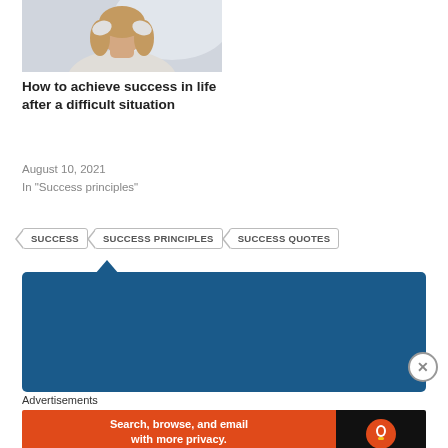[Figure (photo): Woman with head in hands, appearing stressed or sad]
How to achieve success in life after a difficult situation
August 10, 2021
In "Success principles"
SUCCESS
SUCCESS PRINCIPLES
SUCCESS QUOTES
Published by Tapiwa M-Mudzamba
Real Citizen Information, Education
Advertisements
[Figure (screenshot): DuckDuckGo advertisement: Search, browse, and email with more privacy. All in One Free App.]